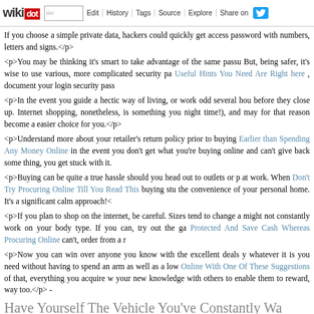wikidot | site | Edit | History | Tags | Source | Explore | Share on [Twitter]
If you choose a simple private data, hackers could quickly get access password with numbers, letters and signs.</p>
<p>You may be thinking it's smart to take advantage of the same passu But, being safer, it's wise to use various, more complicated security pa Useful Hints You Need Are Right here , document your login security pass
<p>In the event you guide a hectic way of living, or work odd several hou before they close up. Internet shopping, nonetheless, is something you night time!), and may for that reason become a easier choice for you.</p>
<p>Understand more about your retailer's return policy prior to buying Earlier than Spending Any Money Online in the event you don't get what you're buying online and can't give back some thing, you get stuck with it.
<p>Buying can be quite a true hassle should you head out to outlets or p at work. When Don't Try Procuring Online Till You Read This buying stu the convenience of your personal home. It's a significant calm approach!<
<p>If you plan to shop on the internet, be careful. Sizes tend to change a might not constantly work on your body type. If you can, try out the ga Protected And Save Cash Whereas Procuring Online can't, order from a r
<p>Now you can win over anyone you know with the excellent deals y whatever it is you need without having to spend an arm as well as a low Online With One Of These Suggestions of that, everything you acquire w your new knowledge with others to enable them to reward, way too.</p> -
Have Yourself The Vehicle You've Constantly Wa